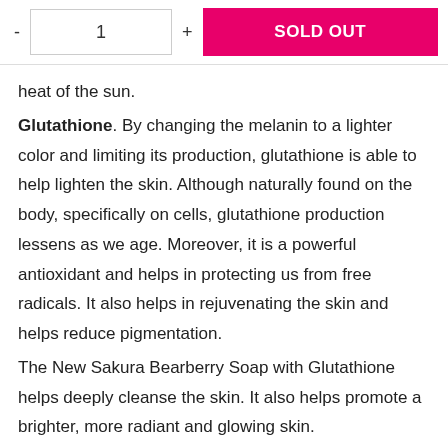[Figure (screenshot): E-commerce quantity selector with minus button, quantity input showing '1', plus button, and a pink 'SOLD OUT' button]
heat of the sun.
Glutathione. By changing the melanin to a lighter color and limiting its production, glutathione is able to help lighten the skin. Although naturally found on the body, specifically on cells, glutathione production lessens as we age. Moreover, it is a powerful antioxidant and helps in protecting us from free radicals. It also helps in rejuvenating the skin and helps reduce pigmentation.
The New Sakura Bearberry Soap with Glutathione helps deeply cleanse the skin. It also helps promote a brighter, more radiant and glowing skin.